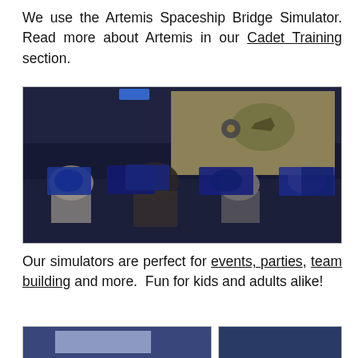We use the Artemis Spaceship Bridge Simulator. Read more about Artemis in our Cadet Training section.
[Figure (photo): People seated at spaceship bridge simulator consoles with multiple screens displaying navigation/sensor data; large projection screen visible at the back showing a space scene.]
Our simulators are perfect for events, parties, team building and more. Fun for kids and adults alike!
[Figure (photo): Two partial photos side by side showing simulator setups with screens displaying blue/purple visuals.]